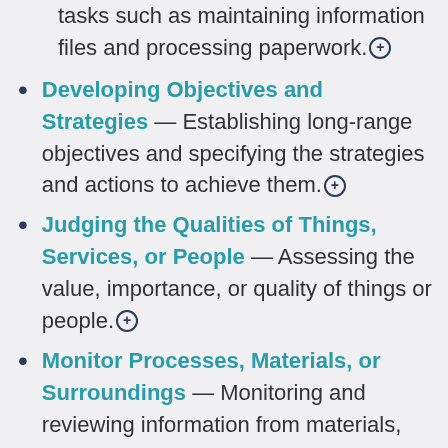tasks such as maintaining information files and processing paperwork.
Developing Objectives and Strategies — Establishing long-range objectives and specifying the strategies and actions to achieve them.
Judging the Qualities of Things, Services, or People — Assessing the value, importance, or quality of things or people.
Monitor Processes, Materials, or Surroundings — Monitoring and reviewing information from materials, events, or the environment to detect or